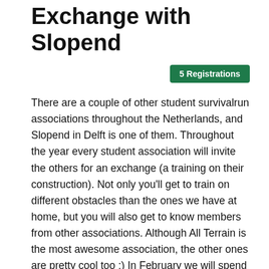Exchange with Slopend
5 Registrations
There are a couple of other student survivalrun associations throughout the Netherlands, and Slopend in Delft is one of them. Throughout the year every student association will invite the others for an exchange (a training on their construction). Not only you'll get to train on different obstacles than the ones we have at home, but you will also get to know members from other associations. Although All Terrain is the most awesome association, the other ones are pretty cool too ;) In February we will spend a weekend together with those other student associations (the NSSW weekend), so it is nice (although not necessary) if you already know them a bit :) The first exchange